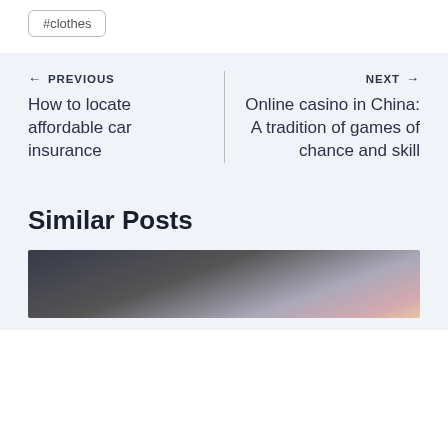#clothes
← PREVIOUS
How to locate affordable car insurance
NEXT →
Online casino in China: A tradition of games of chance and skill
Similar Posts
[Figure (photo): A photo strip at the bottom showing shelves with colorful items]